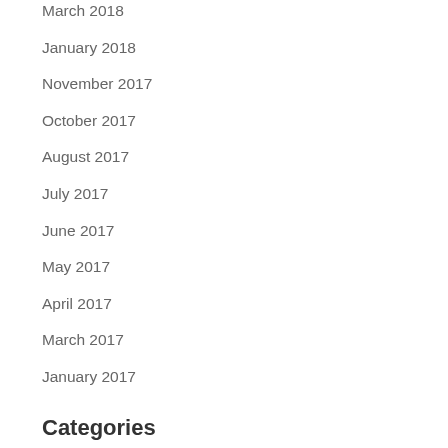March 2018
January 2018
November 2017
October 2017
August 2017
July 2017
June 2017
May 2017
April 2017
March 2017
January 2017
Categories
Exclusives
Internal use only